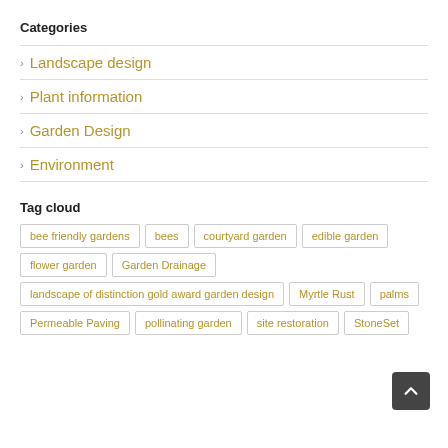Categories
Landscape design
Plant information
Garden Design
Environment
Tag cloud
bee friendly gardens
bees
courtyard garden
edible garden
flower garden
Garden Drainage
landscape of distinction gold award garden design
Myrtle Rust
palms
Permeable Paving
pollinating garden
site restoration
StoneSet